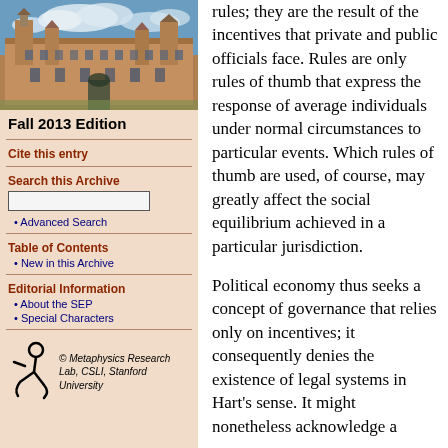[Figure (photo): Aerial/exterior photo of a historic stone university building (likely Stanford or Oxford-style), with Gothic architecture under a blue sky with clouds.]
Fall 2013 Edition
Cite this entry
Search this Archive
Advanced Search
Table of Contents
New in this Archive
Editorial Information
About the SEP
Special Characters
[Figure (logo): Metaphysics Research Lab logo — stylized figure/symbol in black]
© Metaphysics Research Lab, CSLI, Stanford University
rules; they are the result of the incentives that private and public officials face. Rules are only rules of thumb that express the response of average individuals under normal circumstances to particular events. Which rules of thumb are used, of course, may greatly affect the social equilibrium achieved in a particular jurisdiction.
Political economy thus seeks a concept of governance that relies only on incentives; it consequently denies the existence of legal systems in Hart's sense. It might nonetheless acknowledge a